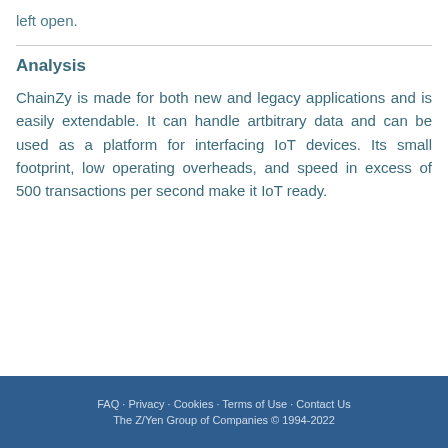left open.
Analysis
ChainZy is made for both new and legacy applications and is easily extendable. It can handle artbitrary data and can be used as a platform for interfacing IoT devices. Its small footprint, low operating overheads, and speed in excess of 500 transactions per second make it IoT ready.
FAQ • Privacy • Cookies • Terms of Use • Contact Us
The Z/Yen Group of Companies © 1994-2022